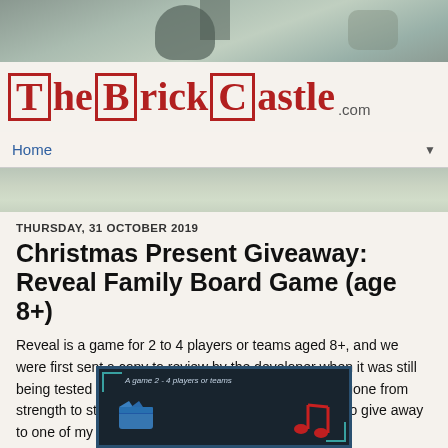[Figure (photo): Background photo of stone/brick wall with plant/hose, top banner]
The Brick Castle .com
Home
[Figure (photo): Background photo strip of stone/garden scene]
THURSDAY, 31 OCTOBER 2019
Christmas Present Giveaway: Reveal Family Board Game (age 8+)
Reveal is a game for 2 to 4 players or teams aged 8+, and we were first sent a copy to review by the developer when it was still being tested a couple of years ago. Since then it has gone from strength to strength and I'm delighted to have a copy to give away to one of my readers.
[Figure (photo): Reveal board game box showing 'A game 2 - 4 players or teams' with blue film reel and red musical note icons on dark background]